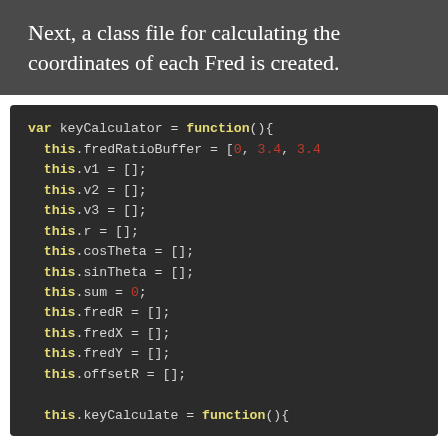Next, a class file for calculating the coordinates of each Fred is created.
[Figure (screenshot): JavaScript code block showing keyCalculator constructor function with properties: fredRatioBuffer = [0, 3.4, 3.4...], v1=[], v2=[], v3=[], r=[], cosTheta=[], sinTheta=[], sum=0, fredR=[], fredX=[], fredY=[], offsetR=[], and this.keyCalculator = function(){]